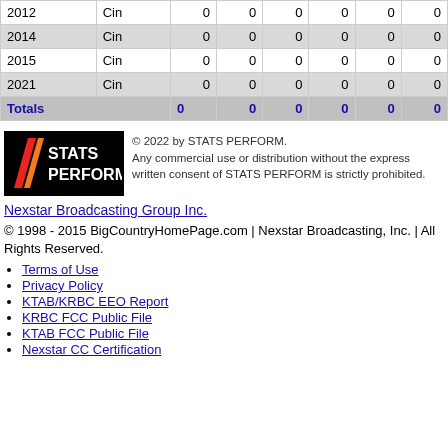| Year | Team | Col3 | Col4 | Col5 | Col6 | Col7 | Col8 |
| --- | --- | --- | --- | --- | --- | --- | --- |
| 2012 | Cin | 0 | 0 | 0 | 0 | 0 | 0 |
| 2014 | Cin | 0 | 0 | 0 | 0 | 0 | 0 |
| 2015 | Cin | 0 | 0 | 0 | 0 | 0 | 0 |
| 2021 | Cin | 0 | 0 | 0 | 0 | 0 | 0 |
| Totals |  | 0 | 0 | 0 | 0 | 0 | 0 |
[Figure (logo): STATS PERFORM logo — black background with diagonal red/orange stripes and white text reading STATS PERFORM]
© 2022 by STATS PERFORM. Any commercial use or distribution without the express written consent of STATS PERFORM is strictly prohibited.
Nexstar Broadcasting Group Inc.
© 1998 - 2015 BigCountryHomePage.com | Nexstar Broadcasting, Inc. | All Rights Reserved.
Terms of Use
Privacy Policy
KTAB/KRBC EEO Report
KRBC FCC Public File
KTAB FCC Public File
Nexstar CC Certification